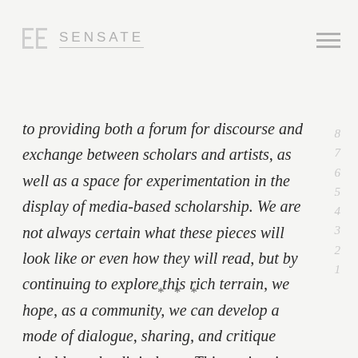SENSATE
to providing both a forum for discourse and exchange between scholars and artists, as well as a space for experimentation in the display of media-based scholarship. We are not always certain what these pieces will look like or even how they will read, but by continuing to explore this rich terrain, we hope, as a community, we can develop a mode of dialogue, sharing, and critique suitable to the digital age. This project is the first installment of what we hope will be a series of artist responses to scholarly works.
* * *